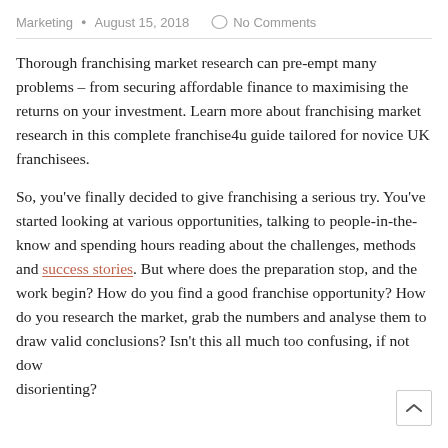Marketing • August 15, 2018   No Comments
Thorough franchising market research can pre-empt many problems – from securing affordable finance to maximising the returns on your investment. Learn more about franchising market research in this complete franchise4u guide tailored for novice UK franchisees.
So, you've finally decided to give franchising a serious try. You've started looking at various opportunities, talking to people-in-the-know and spending hours reading about the challenges, methods and success stories. But where does the preparation stop, and the work begin? How do you find a good franchise opportunity? How do you research the market, grab the numbers and analyse them to draw valid conclusions? Isn't this all much too confusing, if not downright disorienting?